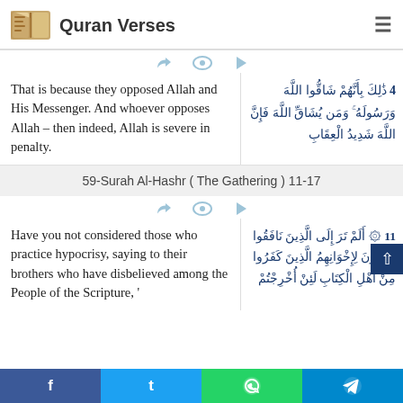Quran Verses
That is because they opposed Allah and His Messenger. And whoever opposes Allah – then indeed, Allah is severe in penalty.
4 ذَٰلِكَ بِأَنَّهُمْ شَاقُّوا اللَّهَ وَرَسُولَهُ ۚ وَمَن يُشَاقِّ اللَّهَ فَإِنَّ اللَّهَ شَدِيدُ الْعِقَابِ
59-Surah Al-Hashr ( The Gathering ) 11-17
Have you not considered those who practice hypocrisy, saying to their brothers who have disbelieved among the People of the Scripture, '
11 ۞ أَلَمْ تَرَ إِلَى الَّذِينَ نَافَقُوا يَقُولُونَ لِإِخْوَانِهِمُ الَّذِينَ كَفَرُوا مِنْ أَهْلِ الْكِتَابِ لَئِنْ أُخْرِجْتُم
f  t  (WhatsApp)  (Telegram)